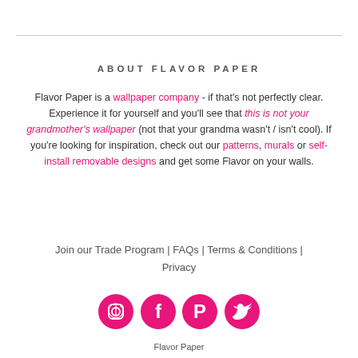ABOUT FLAVOR PAPER
Flavor Paper is a wallpaper company - if that's not perfectly clear. Experience it for yourself and you'll see that this is not your grandmother's wallpaper (not that your grandma wasn't / isn't cool). If you're looking for inspiration, check out our patterns, murals or self-install removable designs and get some Flavor on your walls.
Join our Trade Program | FAQs | Terms & Conditions | Privacy
[Figure (illustration): Four pink circular social media icons: Instagram, Facebook, Pinterest, Twitter]
Flavor Paper
216 Pacific Street
Brooklyn, NY